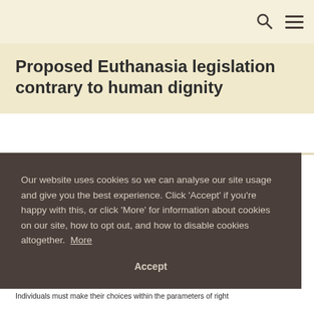Proposed Euthanasia legislation contrary to human dignity
Our website uses cookies so we can analyse our site usage and give you the best experience. Click 'Accept' if you're happy with this, or click 'More' for information about cookies on our site, how to opt out, and how to disable cookies altogether. More
Accept
our
gift
ift is
e.
Individuals must make their choices within the parameters of right